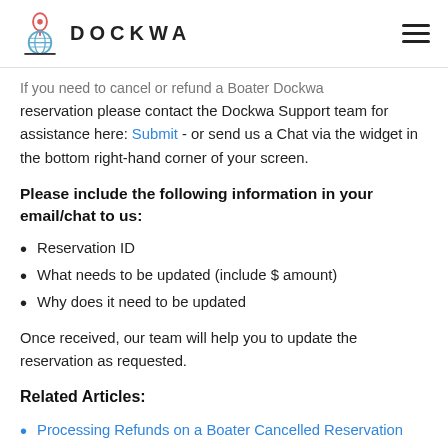DOCKWA
If you need to cancel or refund a Boater Dockwa reservation please contact the Dockwa Support team for assistance here: Submit - or send us a Chat via the widget in the bottom right-hand corner of your screen.
Please include the following information in your email/chat to us:
Reservation ID
What needs to be updated (include $ amount)
Why does it need to be updated
Once received, our team will help you to update the reservation as requested.
Related Articles:
Processing Refunds on a Boater Cancelled Reservation
Re-billing Through Dockwa for Day of Arrival Re-Bill